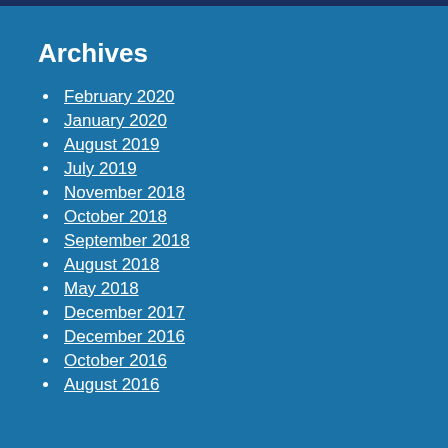Archives
February 2020
January 2020
August 2019
July 2019
November 2018
October 2018
September 2018
August 2018
May 2018
December 2017
December 2016
October 2016
August 2016